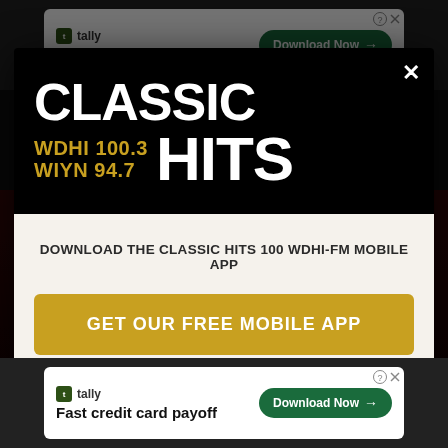[Figure (screenshot): Top advertisement banner: Tally - Fast credit card payoff, Download Now button]
[Figure (logo): Classic Hits WDHI 100.3 / WIYN 94.7 radio station modal popup with logo and app download prompt]
DOWNLOAD THE CLASSIC HITS 100 WDHI-FM MOBILE APP
GET OUR FREE MOBILE APP
[Figure (screenshot): Bottom advertisement banner: Tally - Fast credit card payoff, Download Now button]